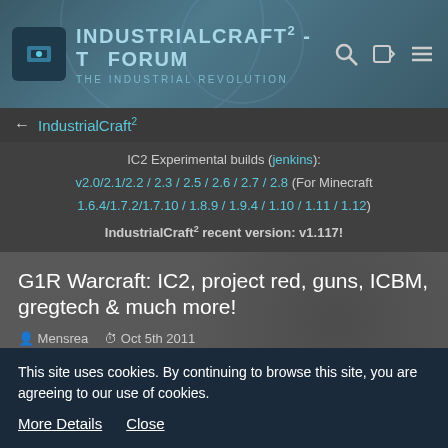[Figure (screenshot): IndustrialCraft2 forum site header with logo, site title 'IndustrialCraft² - The Forum', subtitle 'The Industrial Revolution', search icon, login icon, and menu icon]
← IndustrialCraft²
IC2 Experimental builds (jenkins): v2.0/2.1/2.2 / 2.3 / 2.5 / 2.6 / 2.7 / 2.8 (For Minecraft 1.6.4/1.7.2/1.7.10 / 1.8.9 / 1.9.4 / 1.10 / 1.11 / 1.12)
IndustrialCraft² recent version: v1.117!
G1R Warcraft: IC2, project red, guns, ICBM, gregtech & much more!
Mensrea  Oct 5th 2011
Ghaz_ranka
This site uses cookies. By continuing to browse this site, you are agreeing to our use of cookies.
More Details   Close